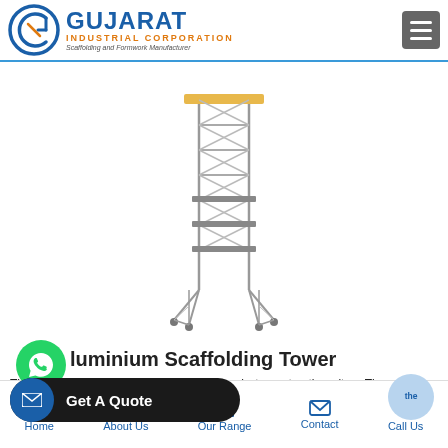[Figure (logo): Gujarat Industrial Corporation logo with blue circular G emblem and orange/blue text]
[Figure (photo): Aluminium scaffolding tower illustration — tall narrow metal frame tower with diagonal bracing, platforms, and outrigger base]
Aluminium Scaffolding Tower
The aluminium scaffolding towers are used at construction sites. These towers act as the platform for the workers working at the construction site.